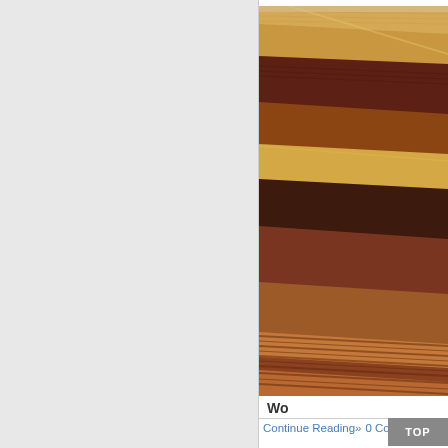[Figure (photo): Stack of wood flooring samples or veneer strips showing multiple wood species and stains, ranging from light tan/oak to dark mahogany and reddish-brown tones, fanned out diagonally]
Wo
Continue Reading» 0 Commen
TOP